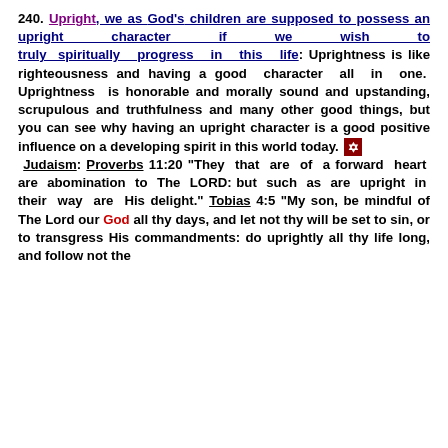240. Upright, we as God's children are supposed to possess an upright character if we wish to truly spiritually progress in this life: Uprightness is like righteousness and having a good character all in one. Uprightness is honorable and morally sound and upstanding, scrupulous and truthfulness and many other good things, but you can see why having an upright character is a good positive influence on a developing spirit in this world today. Judaism: Proverbs 11:20 "They that are of a forward heart are abomination to The LORD: but such as are upright in their way are His delight." Tobias 4:5 "My son, be mindful of The Lord our God all thy days, and let not thy will be set to sin, or to transgress His commandments: do uprightly all thy life long, and follow not the